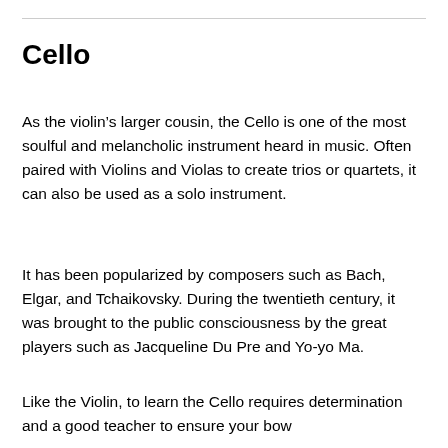Cello
As the violin’s larger cousin, the Cello is one of the most soulful and melancholic instrument heard in music. Often paired with Violins and Violas to create trios or quartets, it can also be used as a solo instrument.
It has been popularized by composers such as Bach, Elgar, and Tchaikovsky. During the twentieth century, it was brought to the public consciousness by the great players such as Jacqueline Du Pre and Yo-yo Ma.
Like the Violin, to learn the Cello requires determination and a good teacher to ensure your bow...